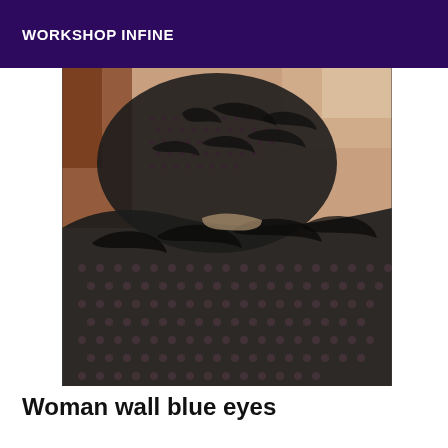WORKSHOP INFINE
[Figure (photo): Close-up photograph of legs wearing black fishnet/lace patterned hosiery, showing a curved pose against a blurred background with warm tones.]
Woman wall blue eyes